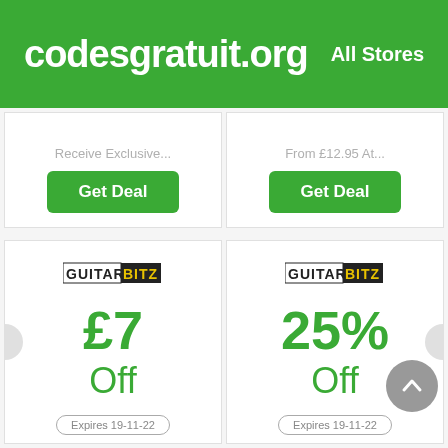codesgratuit.org   All Stores
Receive Exclusive...
Get Deal
From £12.95 At...
Get Deal
[Figure (logo): GuitarBitz logo]
£7 Off
Expires 19-11-22
[Figure (logo): GuitarBitz logo]
25% Off
Expires 19-11-22